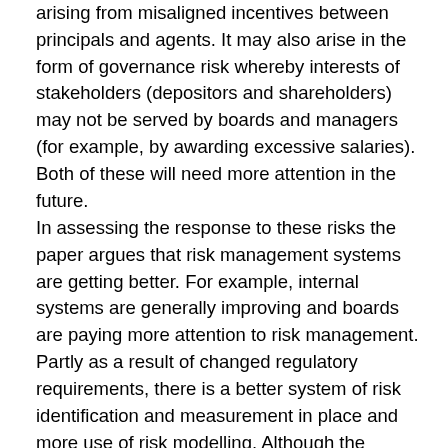arising from misaligned incentives between principals and agents. It may also arise in the form of governance risk whereby interests of stakeholders (depositors and shareholders) may not be served by boards and managers (for example, by awarding excessive salaries). Both of these will need more attention in the future.
In assessing the response to these risks the paper argues that risk management systems are getting better. For example, internal systems are generally improving and boards are paying more attention to risk management. Partly as a result of changed regulatory requirements, there is a better system of risk identification and measurement in place and more use of risk modelling. Although the paper's description of changing risk management processes inside banks is interesting, it is too limited. It would be useful to have a more systematic way of judging how extensively these